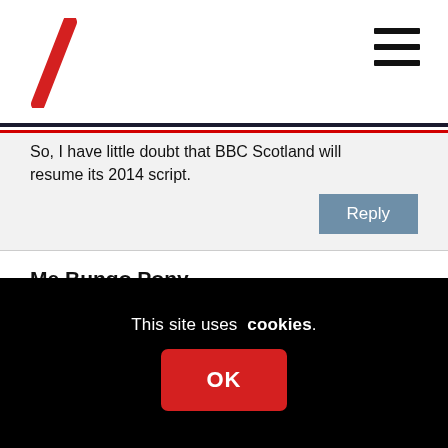So, I have little doubt that BBC Scotland will resume its 2014 script.
Reply
Me Bungo Pony
20th March 2019 at 11:38 am
“So, I have little doubt that BBC Scotland will resume its 2014 script”.

Far fewer will be listening though.
This site uses cookies.
OK